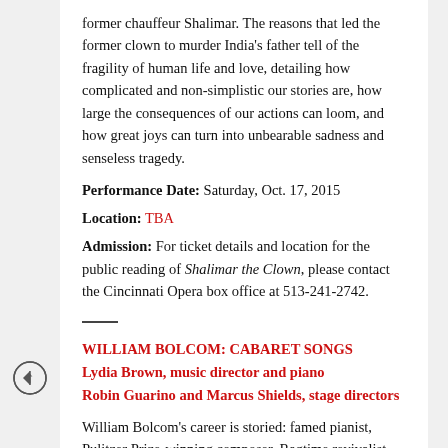former chauffeur Shalimar. The reasons that led the former clown to murder India's father tell of the fragility of human life and love, detailing how complicated and non-simplistic our stories are, how large the consequences of our actions can loom, and how great joys can turn into unbearable sadness and senseless tragedy.
Performance Date: Saturday, Oct. 17, 2015
Location: TBA
Admission: For ticket details and location for the public reading of Shalimar the Clown, please contact the Cincinnati Opera box office at 513-241-2742.
WILLIAM BOLCOM: CABARET SONGS
Lydia Brown, music director and piano
Robin Guarino and Marcus Shields, stage directors
William Bolcom's career is storied: famed pianist, Pulitzer Prize-winning composer, Ragtime revivalist and acclaimed professor at the University of Michigan. Arnold Weinstein, a